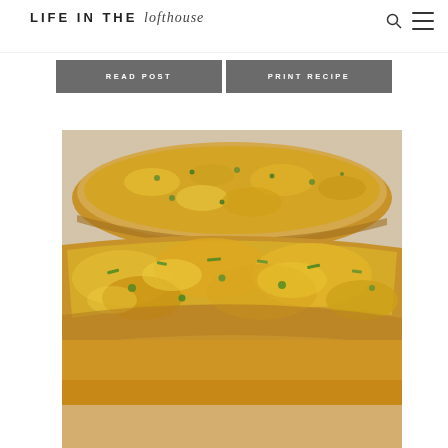LIFE IN THE lofthouse
READ POST
PRINT RECIPE
[Figure (photo): Close-up photo of cheesy garlic bread slices topped with melted cheddar cheese and green herbs/chives on a light wooden cutting board background]